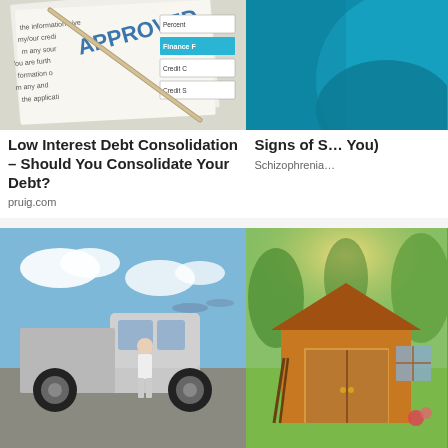[Figure (photo): Finance/credit document with a pen and approval stamp, showing text about credit information, Finance and Credit fields visible]
Low Interest Debt Consolidation – Should You Consolidate Your Debt?
pruig.com
[Figure (photo): Partial image of teal/blue abstract background, partially cut off on right side]
Signs of S… You)
Schizophrenia…
[Figure (photo): Man standing next to a silver Ford F-150 Lightning electric truck in a parking lot with airplanes visible in background]
Unsold Ford F-150s Now Almost Being Given Away (See Prices)
[Figure (photo): Small wooden garden shed with double doors and window, surrounded by green grass and spring trees]
Unsold Sheds on Clearance Sale